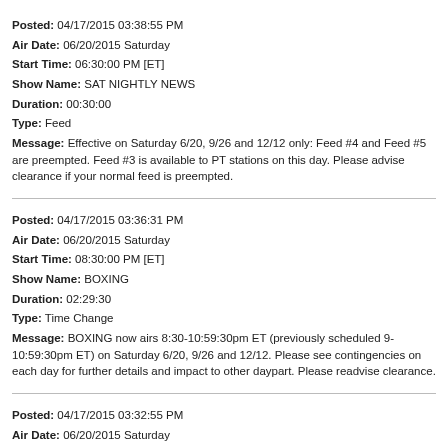Posted: 04/17/2015 03:38:55 PM
Air Date: 06/20/2015 Saturday
Start Time: 06:30:00 PM [ET]
Show Name: SAT NIGHTLY NEWS
Duration: 00:30:00
Type: Feed
Message: Effective on Saturday 6/20, 9/26 and 12/12 only: Feed #4 and Feed #5 are preempted. Feed #3 is available to PT stations on this day. Please advise clearance if your normal feed is preempted.
Posted: 04/17/2015 03:36:31 PM
Air Date: 06/20/2015 Saturday
Start Time: 08:30:00 PM [ET]
Show Name: BOXING
Duration: 02:29:30
Type: Time Change
Message: BOXING now airs 8:30-10:59:30pm ET (previously scheduled 9-10:59:30pm ET) on Saturday 6/20, 9/26 and 12/12. Please see contingencies on each day for further details and impact to other daypart. Please readvise clearance.
Posted: 04/17/2015 03:32:55 PM
Air Date: 06/20/2015 Saturday